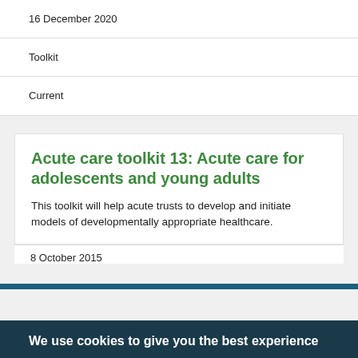16 December 2020
Toolkit
Current
Acute care toolkit 13: Acute care for adolescents and young adults
This toolkit will help acute trusts to develop and initiate models of developmentally appropriate healthcare.
8 October 2015
We use cookies to give you the best experience